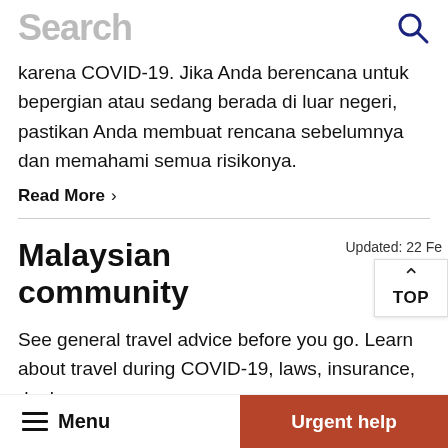Search
karena COVID-19. Jika Anda berencana untuk bepergian atau sedang berada di luar negeri, pastikan Anda membuat rencana sebelumnya dan memahami semua risikonya.
Read More >
Malaysian community
Updated: 22 Fe
TOP
See general travel advice before you go. Learn about travel during COVID-19, laws, insurance, dual
Menu   Urgent help